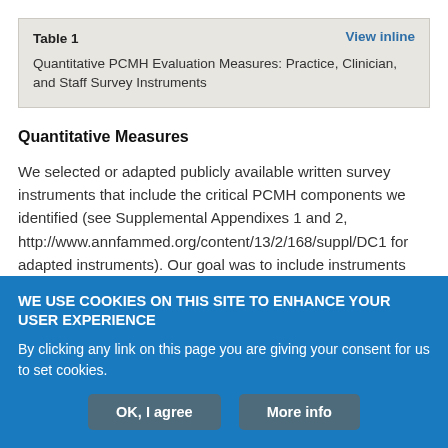| Table 1 | View inline |
| Quantitative PCMH Evaluation Measures: Practice, Clinician, and Staff Survey Instruments |  |
Quantitative Measures
We selected or adapted publicly available written survey instruments that include the critical PCMH components we identified (see Supplemental Appendixes 1 and 2, http://www.annfammed.org/content/13/2/168/suppl/DC1 for adapted instruments). Our goal was to include instruments that we believe,
WE USE COOKIES ON THIS SITE TO ENHANCE YOUR USER EXPERIENCE

By clicking any link on this page you are giving your consent for us to set cookies.

OK, I agree    More info